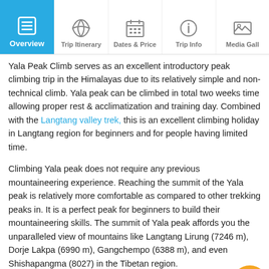Overview | Trip Itinerary | Dates & Price | Trip Info | Media Gallery
Yala Peak Climb serves as an excellent introductory peak climbing trip in the Himalayas due to its relatively simple and non-technical climb. Yala peak can be climbed in total two weeks time allowing proper rest & acclimatization and training day. Combined with the Langtang valley trek, this is an excellent climbing holiday in Langtang region for beginners and for people having limited time.
Climbing Yala peak does not require any previous mountaineering experience. Reaching the summit of the Yala peak is relatively more comfortable as compared to other trekking peaks in. It is a perfect peak for beginners to build their mountaineering skills. The summit of Yala peak affords you the unparalleled view of mountains like Langtang Lirung (7246 m), Dorje Lakpa (6990 m), Gangchempo (6388 m), and even Shishapangma (8027) in the Tibetan region.